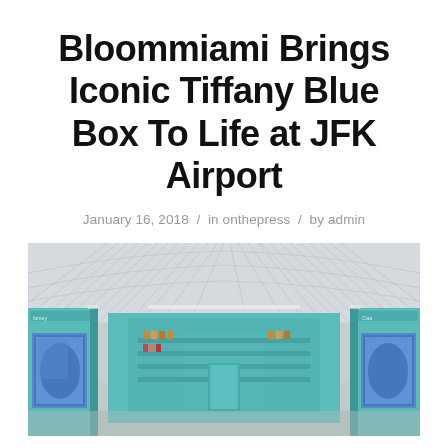Bloommiami Brings Iconic Tiffany Blue Box To Life at JFK Airport
January 16, 2018 / in onthepress / by admin
[Figure (photo): Interior photo of a Tiffany Blue retail store at JFK Airport, showing a teal/turquoise colored box-shaped kiosk with display screens on the sides, product shelves and displays inside, and a modern airport terminal ceiling with geometric patterns above.]